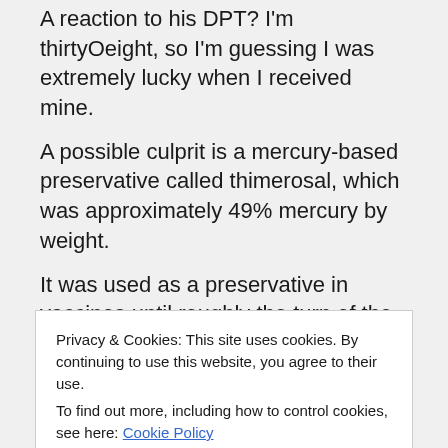A reaction to his DPT? I'm thirtyOeight, so I'm guessing I was extremely lucky when I received mine. A possible culprit is a mercury-based preservative called thimerosal, which was approximately 49% mercury by weight. It was used as a preservative in vaccines until roughly the turn of the twenty-first century.
http://en.wikipedia.org/wiki/Thimerosal
Privacy & Cookies: This site uses cookies. By continuing to use this website, you agree to their use. To find out more, including how to control cookies, see here: Cookie Policy
Close and accept
After two days of agony and seeping eyes,